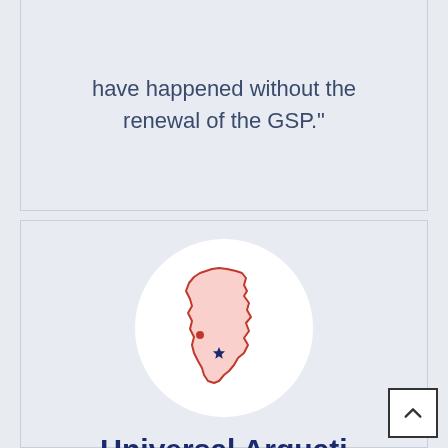have happened without the renewal of the GSP."
[Figure (illustration): Map of California state outline in red/pink with two star markers, displayed inside a white circle on a light blue-grey background]
Universal Arquati Moulding
Santa Clarita, California
"Not knowing if or when GSP duties paid might be refunded put all expansion